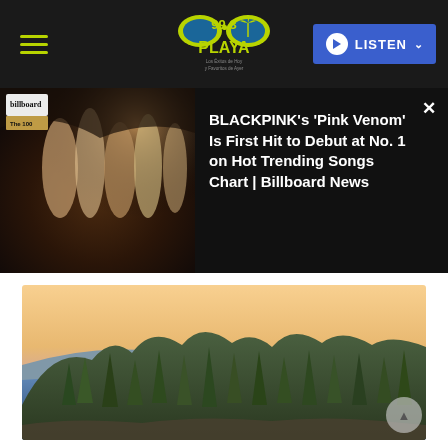99.3 Playa — Los Éxitos de Hoy y Favoritos de Ayer | LISTEN
[Figure (screenshot): BLACKPINK Billboard magazine photo with four female artists posing]
BLACKPINK's 'Pink Venom' Is First Hit to Debut at No. 1 on Hot Trending Songs Chart | Billboard News
[Figure (photo): Aerial View of Lake Tahoe Mountains and Turquoise Blue Water, California, USA — showing dense pine forest, rocky shoreline, and calm blue water at dusk]
Aerial View of Lake Tahoe Mountains and Turquoise Blue Water, California, USA
We are absolutely spoiled with the fishing we